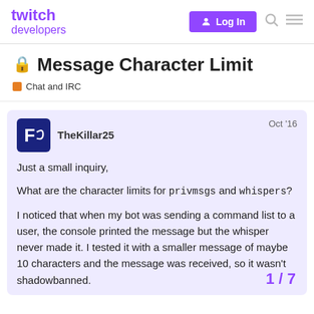twitch developers — Log In
Message Character Limit
Chat and IRC
TheKillar25  Oct '16
Just a small inquiry,

What are the character limits for privmsgs and whispers?

I noticed that when my bot was sending a command list to a user, the console printed the message but the whisper never made it. I tested it with a smaller message of maybe 10 characters and the message was received, so it wasn't shadowbanned.
1 / 7